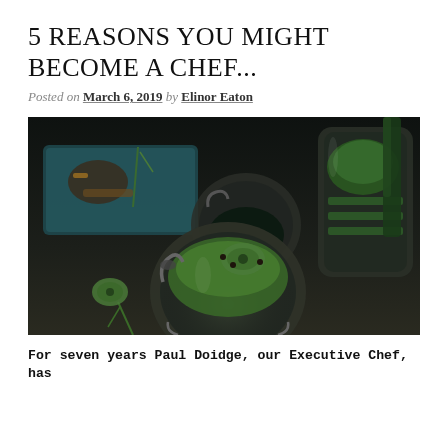5 REASONS YOU MIGHT BECOME A CHEF...
Posted on March 6, 2019 by Elinor Eaton
[Figure (photo): Glass jars filled with pickled green vegetables, cucumbers, herbs, and spices on a dark wooden surface, with a teal storage container in the background.]
For seven years Paul Doidge, our Executive Chef, has